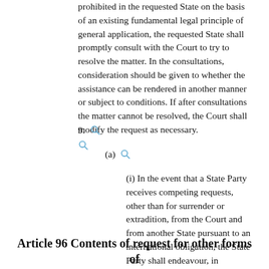prohibited in the requested State on the basis of an existing fundamental legal principle of general application, the requested State shall promptly consult with the Court to try to resolve the matter. In the consultations, consideration should be given to whether the assistance can be rendered in another manner or subject to conditions. If after consultations the matter cannot be resolved, the Court shall modify the request as necessary.
9.
(a)
(i) In the event that a State Party receives competing requests, other than for surrender or extradition, from the Court and from another State pursuant to an international obligation, the State Party shall endeavour, in consultation with the Court and the other State, to meet both requests, if necessary by postponing or attaching conditions to one or the other request.
Article 96 Contents of request for other forms of